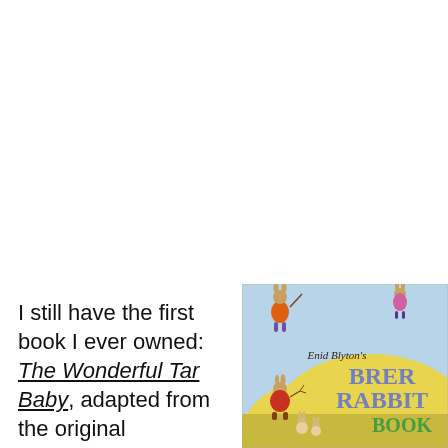I still have the first book I ever owned: The Wonderful Tar Baby, adapted from the original
[Figure (illustration): Cover of Enid Blyton's Brer Rabbit Book, showing illustrated rabbit characters in colourful clothing with the title text 'Enid Blyton's BRER RABBIT BOOK' visible]